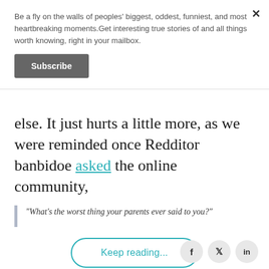Be a fly on the walls of peoples' biggest, oddest, funniest, and most heartbreaking moments.Get interesting true stories of and all things worth knowing, right in your mailbox.
Subscribe
else. It just hurts a little more, as we were reminded once Redditor banbidoe asked the online community,
"What's the worst thing your parents ever said to you?"
Keep reading...
[Figure (other): Social sharing icons for Facebook, Twitter/X, and LinkedIn]